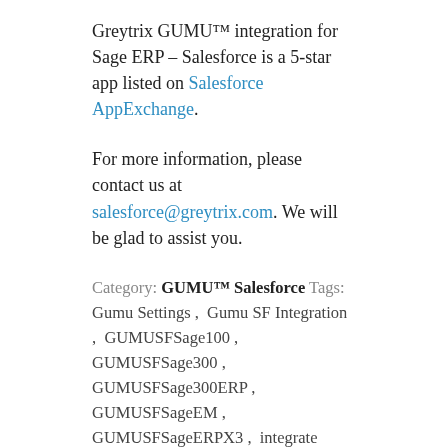Greytrix GUMU™ integration for Sage ERP – Salesforce is a 5-star app listed on Salesforce AppExchange.
For more information, please contact us at salesforce@greytrix.com. We will be glad to assist you.
Category: GUMU™ Salesforce  Tags: Gumu Settings, Gumu SF Integration, GUMUSFSage100, GUMUSFSage300, GUMUSFSage300ERP, GUMUSFSageEM, GUMUSFSageERPX3, integrate salesforce with sage 100, integrate salesforce with sage 300, integrate salesforce with sage EM, integrate salesforce with sage x3, integrate sfdc and sage 100, integrate sfdc and sage 300, Manage Assignment, Sage100, Sage100-Salesforce, Sage100-SF, SageEM, SageX3, Salesforce, salesforce + sage 300, salesforce + sage EM, salesforce + sage x3, salesforce and sage 100 integration, salesforce and sage 300 integration, salesforce CRM integration for sage erp, salesforce integration with sage, Salesforce integration with Sage 100, Salesforce integration